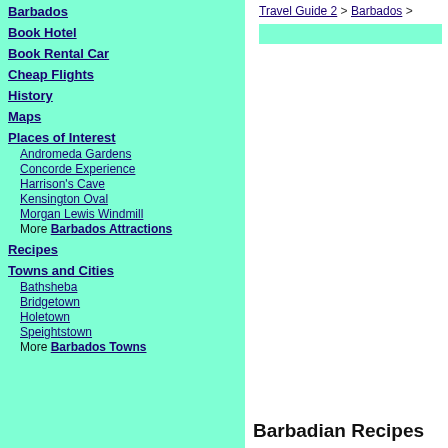Barbados
Book Hotel
Book Rental Car
Cheap Flights
History
Maps
Places of Interest
Andromeda Gardens
Concorde Experience
Harrison's Cave
Kensington Oval
Morgan Lewis Windmill
More Barbados Attractions
Recipes
Towns and Cities
Bathsheba
Bridgetown
Holetown
Speightstown
More Barbados Towns
Travel Guide 2 > Barbados >
Barbadian Recipes